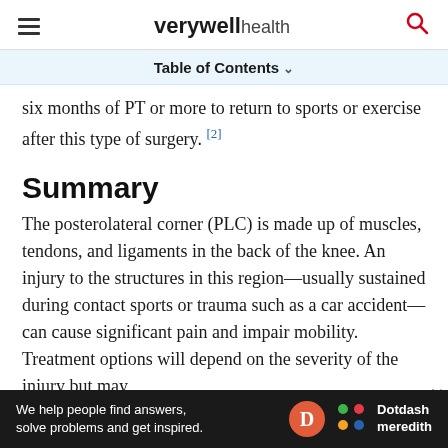verywell health
Table of Contents
six months of PT or more to return to sports or exercise after this type of surgery. [2]
Summary
The posterolateral corner (PLC) is made up of muscles, tendons, and ligaments in the back of the knee. An injury to the structures in this region—usually sustained during contact sports or trauma such as a car accident—can cause significant pain and impair mobility. Treatment options will depend on the severity of the injury but may
[Figure (other): Dotdash Meredith advertisement banner: 'We help people find answers, solve problems and get inspired.' with Dotdash Meredith logo]